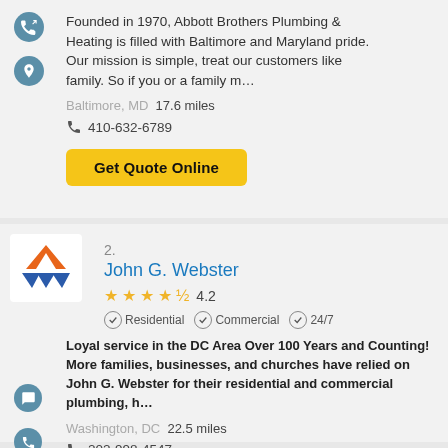Founded in 1970, Abbott Brothers Plumbing & Heating is filled with Baltimore and Maryland pride. Our mission is simple, treat our customers like family. So if you or a family m…
Baltimore, MD  17.6 miles
410-632-6789
Get Quote Online
2.
John G. Webster
4.2
Residential  Commercial  24/7
Loyal service in the DC Area Over 100 Years and Counting! More families, businesses, and churches have relied on John G. Webster for their residential and commercial plumbing, h…
Washington, DC  22.5 miles
202-998-4547